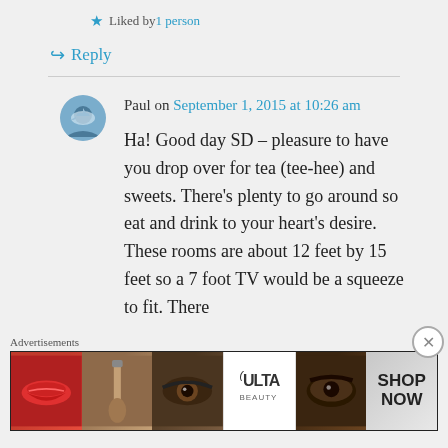★ Liked by 1 person
↪ Reply
Paul on September 1, 2015 at 10:26 am
Ha! Good day SD – pleasure to have you drop over for tea (tee-hee) and sweets. There's plenty to go around so eat and drink to your heart's desire. These rooms are about 12 feet by 15 feet so a 7 foot TV would be a squeeze to fit. There
Advertisements
[Figure (photo): Ulta Beauty advertisement banner showing makeup imagery including lips, makeup brush, eye, Ulta logo, eyebrows, and Shop Now text]